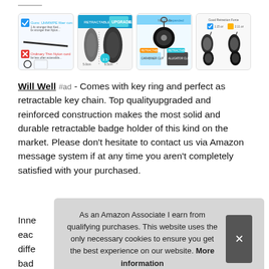[Figure (photo): Four product images in a horizontal strip showing retractable badge holders and accessories]
Will Well #ad - Comes with key ring and perfect as retractable key chain. Top qualityupgraded and reinforced construction makes the most solid and durable retractable badge holder of this kind on the market. Please don't hesitate to contact us via Amazon message system if at any time you aren't completely satisfied with your purchased.
Inne each diffe bad resistant. 1
As an Amazon Associate I earn from qualifying purchases. This website uses the only necessary cookies to ensure you get the best experience on our website. More information